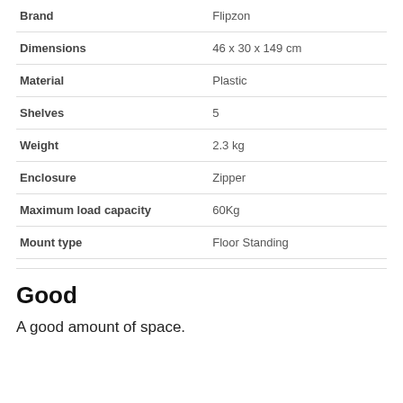| Attribute | Value |
| --- | --- |
| Brand | Flipzon |
| Dimensions | 46 x 30 x 149 cm |
| Material | Plastic |
| Shelves | 5 |
| Weight | 2.3 kg |
| Enclosure | Zipper |
| Maximum load capacity | 60Kg |
| Mount type | Floor Standing |
Good
A good amount of space.